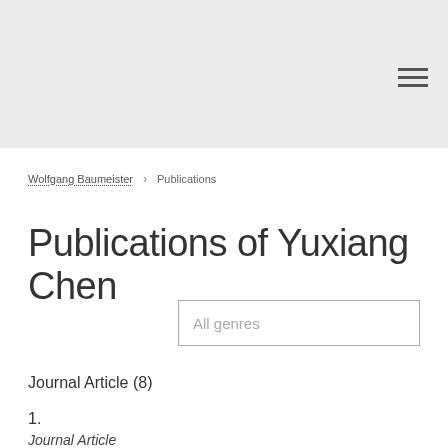Wolfgang Baumeister  Publications
Publications of Yuxiang Chen
All genres
Journal Article (8)
1.
Journal Article